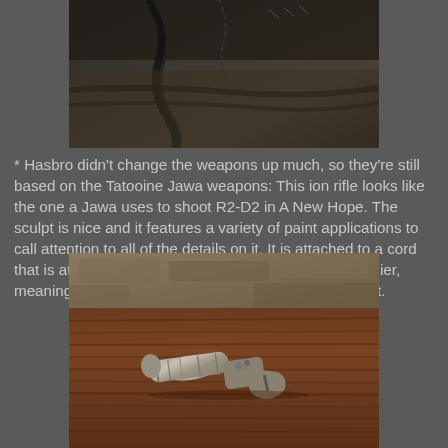[Figure (photo): Close-up photo of dark leather or fabric material with stitching and cord details, likely part of a toy figure's accessories or costume]
* Hasbro didn't change the weapons up much, so they're still based on the Tatooine Jawa weapons: This ion rifle looks like the one a Jawa uses to shoot R2-D2 in A New Hope. The sculpt is nice and it features a variety of paint applications to call attention to all of the details on it. It is attached to a cord that is attached to a battery pack on the Jawa's bandolier, meaning it is not removable. More on that in a moment.
[Figure (photo): Close-up photo of a small metallic ion rifle toy/prop placed on a wooden surface with stone wall in background. The gun is silver/metallic colored with detailed sculpting showing a barrel scope and pistol grip.]